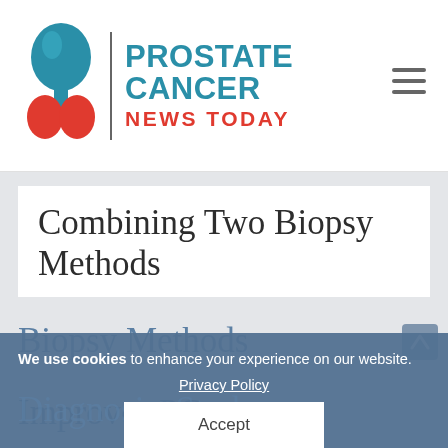[Figure (logo): Prostate Cancer News Today logo with teal prostate gland icon, vertical divider, and bold teal text reading PROSTATE CANCER NEWS TODAY with NEWS TODAY in red]
Combining Two Biopsy Methods Improves PC Diagnosis, Study
We use cookies to enhance your experience on our website.
Privacy Policy
Accept